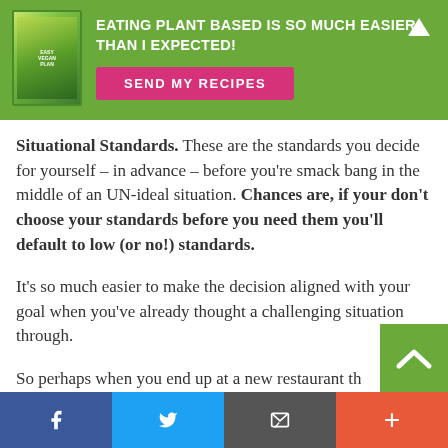[Figure (infographic): Green banner advertisement with a plant-based vegan plan book image, headline text 'EATING PLANT BASED IS SO MUCH EASIER THAN I EXPECTED!' and a pink 'SEND MY RECIPES' button with a white up-arrow icon in the top right corner.]
Situational Standards. These are the standards you decide for yourself – in advance – before you're smack bang in the middle of an UN-ideal situation. Chances are, if your don't choose your standards before you need them you'll default to low (or no!) standards.
It's so much easier to make the decision aligned with your goal when you've already thought a challenging situation through.
So perhaps when you end up at a new restaurant th... es not cater to plant based eating... or when a colleagu... es
[Figure (infographic): Social media sharing footer bar with four buttons: Facebook (blue), Twitter (light blue), Email/envelope (dark grey), and Plus/more (orange-red). A green back-to-top chevron box overlaps the bottom right of the content area.]